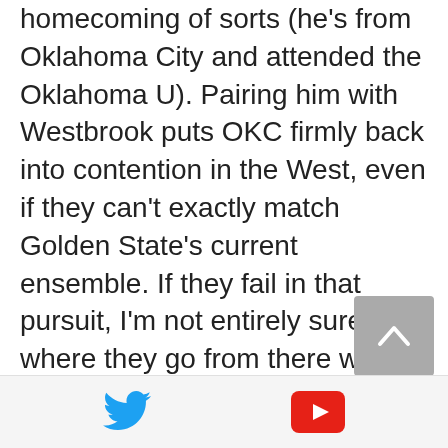homecoming of sorts (he's from Oklahoma City and attended the Oklahoma U). Pairing him with Westbrook puts OKC firmly back into contention in the West, even if they can't exactly match Golden State's current ensemble. If they fail in that pursuit, I'm not entirely sure where they go from there with Oladipo entering restricted free agency next summer. He would essentially become the new franchise cornerstone and hope Cam Payne develops as well as they hope (he's supremely talented, and the organization believes they can mold him into a really good point guard).
[Figure (other): Social media icons: Twitter bird icon (blue) and YouTube play button icon (red)]